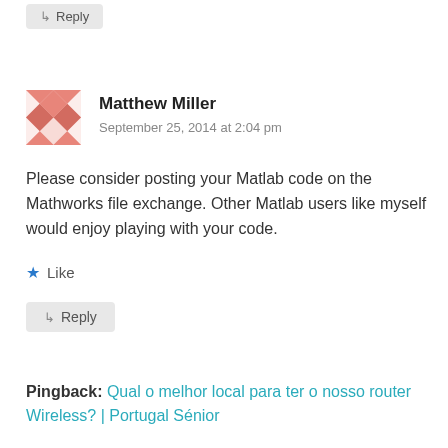↳ Reply
[Figure (illustration): Avatar image for Matthew Miller — geometric pink and white pattern, square mosaic design]
Matthew Miller
September 25, 2014 at 2:04 pm
Please consider posting your Matlab code on the Mathworks file exchange. Other Matlab users like myself would enjoy playing with your code.
★ Like
↳ Reply
Pingback: Qual o melhor local para ter o nosso router Wireless? | Portugal Sénior